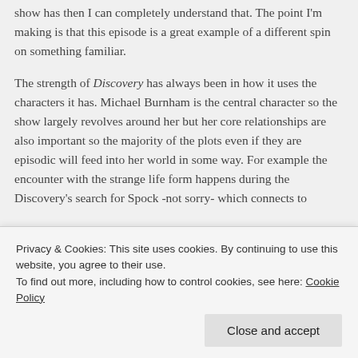show has then I can completely understand that. The point I'm making is that this episode is a great example of a different spin on something familiar.
The strength of Discovery has always been in how it uses the characters it has. Michael Burnham is the central character so the show largely revolves around her but her core relationships are also important so the majority of the plots even if they are episodic will feed into her world in some way. For example the encounter with the strange life form happens during the Discovery's search for Spock -not sorry- which connects to
Privacy & Cookies: This site uses cookies. By continuing to use this website, you agree to their use.
To find out more, including how to control cookies, see here: Cookie Policy
Close and accept
for the purposes of this episode's plot Spock